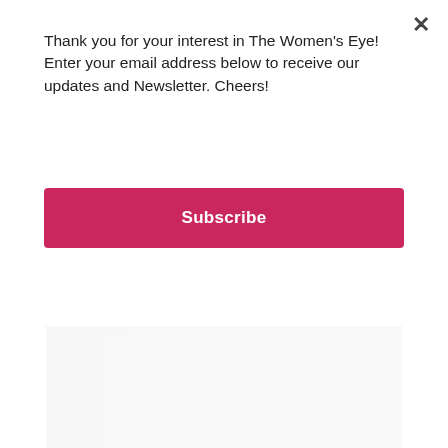Thank you for your interest in The Women's Eye! Enter your email address below to receive our updates and Newsletter. Cheers!
[Figure (other): Pink Subscribe button with white bold text]
[Figure (photo): Black and white photo of fighters/rebels in a stairwell in Libya during fighting]
During fighting in Libya, Heidi took this photo in a stairwell as one of the rebels was shot dead by a sniper, 8-25-11
I was with other photographers and we were capturing images of